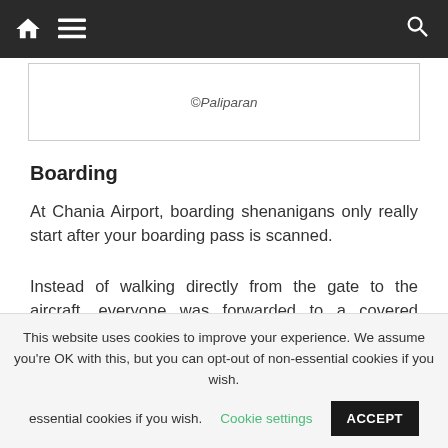Navigation bar with home, menu, and search icons
[Figure (other): Image credit box showing ©Paliparan]
©Paliparan
Boarding
At Chania Airport, boarding shenanigans only really start after your boarding pass is scanned.
Instead of walking directly from the gate to the aircraft, everyone was forwarded to a covered outdoor holding area just in front of the terminal building.
This website uses cookies to improve your experience. We assume you're OK with this, but you can opt-out of non-essential cookies if you wish. Cookie settings ACCEPT